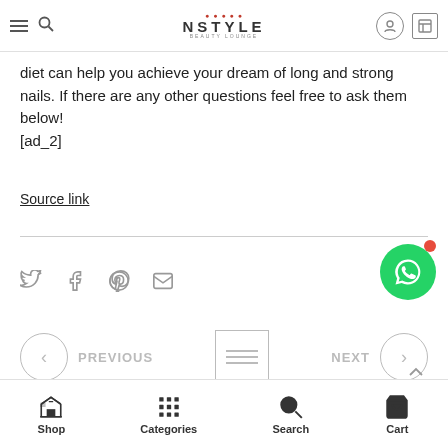NSTYLE BEAUTY LOUNGE
diet can help you achieve your dream of long and strong nails. If there are any other questions feel free to ask them below!
[ad_2]
Source link
Share icons: Twitter, Facebook, Pinterest, Email
PREVIOUS | [grid icon] | NEXT
Shop | Categories | Search | Cart